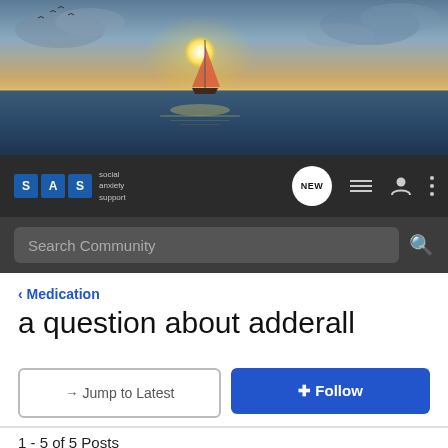[Figure (photo): Hero banner image of a sailboat on the ocean at sunset with dramatic sky]
SAS social anxiety support — navigation bar with NEW, list, user, and menu icons
Search Community
< Medication
a question about adderall
→ Jump to Latest
+ Follow
1 - 5 of 5 Posts
stealyourface722 · Registered
Joined Aug 31, 2008 · 336 Posts